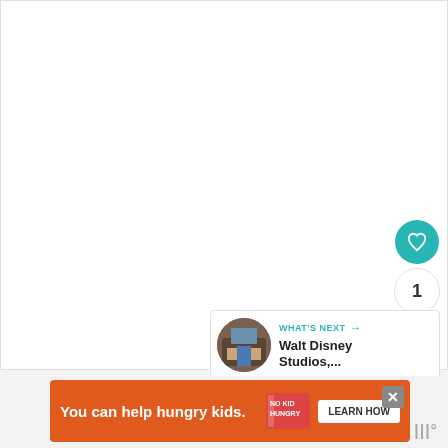[Figure (screenshot): White content area representing a webpage or article body, mostly blank/white]
[Figure (infographic): Sidebar UI buttons: teal heart/like button, count badge showing 1, share button with plus icon]
1
[Figure (infographic): WHAT'S NEXT panel with thumbnail image of Walt Disney Studios building and arrow, showing next article preview]
WHAT'S NEXT → Walt Disney Studios,...
[Figure (infographic): Advertisement banner: orange background, text 'You can help hungry kids.' with No Kid Hungry logo and LEARN HOW button, with X close button]
You can help hungry kids.
LEARN HOW